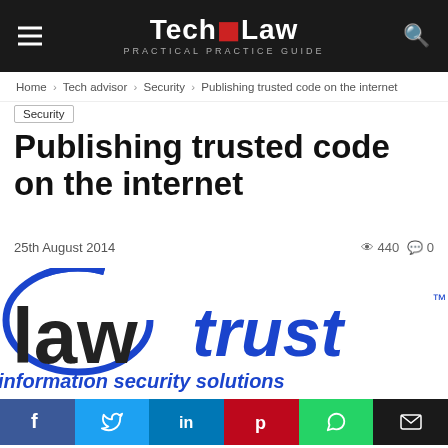[Figure (logo): TechL4Law Practical Practice Guide website header logo on dark background with hamburger menu and search icon]
Home › Tech advisor › Security › Publishing trusted code on the internet
Security
Publishing trusted code on the internet
25th August 2014   440   0
[Figure (logo): LawTrust information security solutions logo - dark text 'law' with blue circle graphic and blue 'trust' text, tagline 'information security solutions']
[Figure (infographic): Social sharing buttons: Facebook (blue), Twitter (cyan), LinkedIn (blue), Pinterest (red), WhatsApp (green), Email (black)]